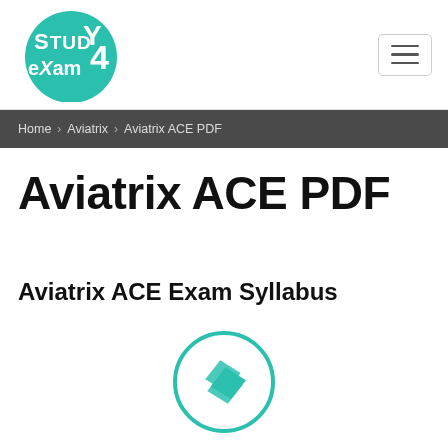Study4Exam logo and navigation
Home > Aviatrix > Aviatrix ACE PDF
Aviatrix ACE PDF
Aviatrix ACE Exam Syllabus
[Figure (logo): Circular teal Study4Exam logo icon with stylized S shape inside a ring]